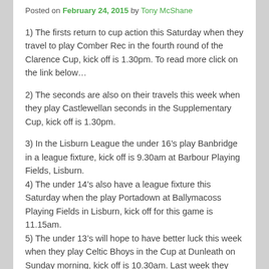Posted on February 24, 2015 by Tony McShane
1) The firsts return to cup action this Saturday when they travel to play Comber Rec in the fourth round of the Clarence Cup, kick off is 1.30pm. To read more click on the link below…
2) The seconds are also on their travels this week when they play Castlewellan seconds in the Supplementary Cup, kick off is 1.30pm.
3) In the Lisburn League the under 16's play Banbridge in a league fixture, kick off is 9.30am at Barbour Playing Fields, Lisburn.
4) The under 14's also have a league fixture this Saturday when the play Portadown at Ballymacoss Playing Fields in Lisburn, kick off for this game is 11.15am.
5) The under 13's will hope to have better luck this week when they play Celtic Bhoys in the Cup at Dunleath on Sunday morning, kick off is 10.30am. Last week they were playing league leaders Coney Island and were drawing one all when the game had to be called off due to the poor